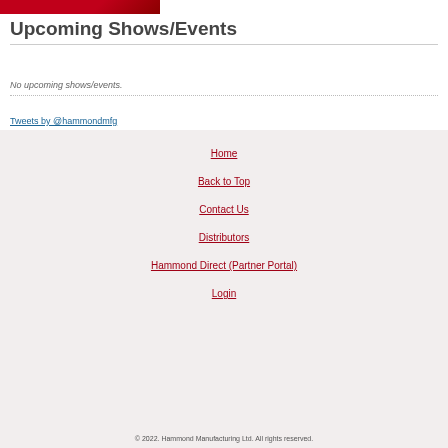[Figure (photo): Red banner/header image partial view at top of page]
Upcoming Shows/Events
No upcoming shows/events.
Tweets by @hammondmfg
Home
Back to Top
Contact Us
Distributors
Hammond Direct (Partner Portal)
Login
© 2022. Hammond Manufacturing Ltd. All rights reserved.